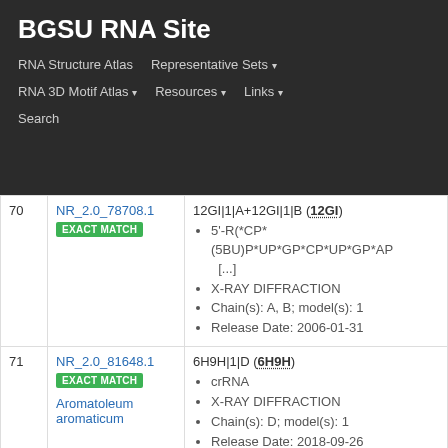BGSU RNA Site
RNA Structure Atlas   Representative Sets ▾   RNA 3D Motif Atlas ▾   Resources ▾   Links ▾   Search
| # | ID / Match | Details |
| --- | --- | --- |
| 70 | NR_2.0_78708.1
EXACT MATCH | 12GI|1|A+12GI|1|B (12GI)
5'-R(*CP*(5BU)P*UP*GP*CP*UP*GP*AP [...]
X-RAY DIFFRACTION
Chain(s): A, B; model(s): 1
Release Date: 2006-01-31 |
| 71 | NR_2.0_81648.1
EXACT MATCH
Aromatoleum aromaticum | 6H9H|1|D (6H9H)
crRNA
X-RAY DIFFRACTION
Chain(s): D; model(s): 1
Release Date: 2018-09-26 |
| 72 | NR_2.0_86272.1
EXACT MATCH | 3MEI|1|A+3MEI|1|B (3MEI)
RNA (5'- R(*CP*CP*CP*CP*CP*CP*CP*CP*C... |